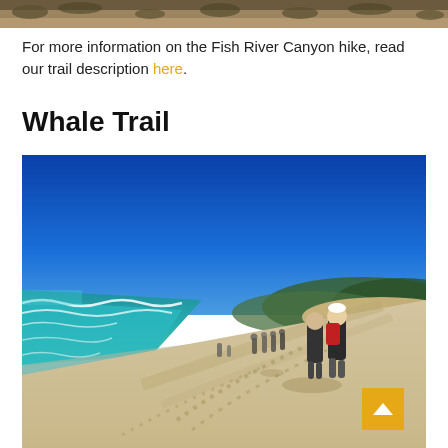[Figure (photo): Top strip of a landscape photo showing dry scrubland/desert terrain, partial view at top of page]
For more information on the Fish River Canyon hike, read our trail description here.
Whale Trail
[Figure (photo): Hikers walking along a sandy beach with turquoise ocean waves on the left, clear blue sky, and green hills in the background. Footprints visible in the sand.]